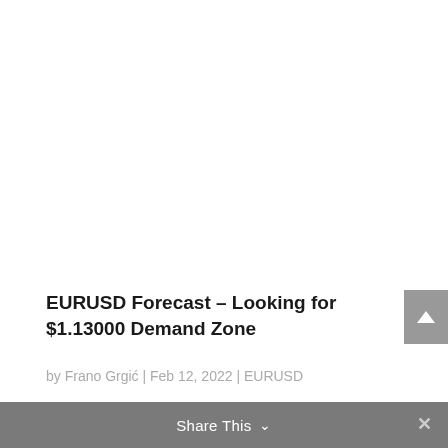read more
EURUSD Forecast – Looking for $1.13000 Demand Zone
by Frano Grgić | Feb 12, 2022 | EURUSD
Share This ∨  ✕